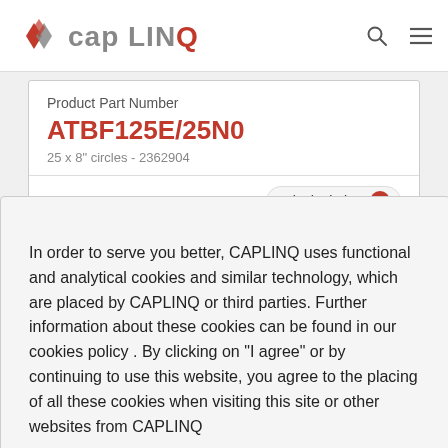[Figure (logo): CAPLINQ logo with diamond/chevron icon in grey and red, followed by 'capLING' text in grey]
Product Part Number
ATBF125E/25N0
25 x 8" circles - 2362904
1. Selected Package Type
8 inch circles ×
In order to serve you better, CAPLINQ uses functional and analytical cookies and similar technology, which are placed by CAPLINQ or third parties. Further information about these cookies can be found in our cookies policy . By clicking on "I agree" or by continuing to use this website, you agree to the placing of all these cookies when visiting this site or other websites from CAPLINQ
Learn about our cookie policy
I Agree
cts listed on ectly from the
In stock